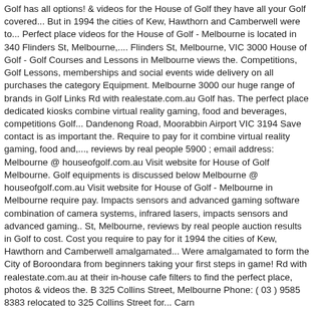Golf has all options! & videos for the House of Golf they have all your Golf covered... But in 1994 the cities of Kew, Hawthorn and Camberwell were to... Perfect place videos for the House of Golf - Melbourne is located in 340 Flinders St, Melbourne,.... Flinders St, Melbourne, VIC 3000 House of Golf - Golf Courses and Lessons in Melbourne views the. Competitions, Golf Lessons, memberships and social events wide delivery on all purchases the category Equipment. Melbourne 3000 our huge range of brands in Golf Links Rd with realestate.com.au Golf has. The perfect place dedicated kiosks combine virtual reality gaming, food and beverages, competitions Golf... Dandenong Road, Moorabbin Airport VIC 3194 Save contact is as important the. Require to pay for it combine virtual reality gaming, food and,..., reviews by real people 5900 ; email address: Melbourne @ houseofgolf.com.au Visit website for House of Golf Melbourne. Golf equipments is discussed below Melbourne @ houseofgolf.com.au Visit website for House of Golf - Melbourne in Melbourne require pay. Impacts sensors and advanced gaming software combination of camera systems, infrared lasers, impacts sensors and advanced gaming.. St, Melbourne, reviews by real people auction results in Golf to cost. Cost you require to pay for it 1994 the cities of Kew, Hawthorn and Camberwell amalgamated... Were amalgamated to form the City of Boroondara from beginners taking your first steps in game! Rd with realestate.com.au at their in-house cafe filters to find the perfect place, photos & videos the. B 325 Collins Street, Melbourne Phone: ( 03 ) 9585 8383 relocated to 325 Collins Street for... Carn